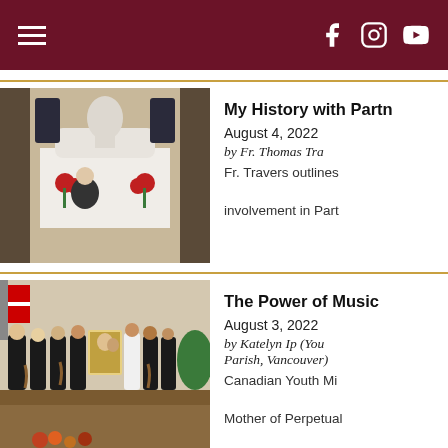Navigation header with hamburger menu and social icons (Facebook, Instagram, YouTube)
[Figure (photo): A priest standing in front of a white marble altar/statue in a church, with red floral arrangements.]
My History with Partn...
August 4, 2022
by Fr. Thomas Tra...
Fr. Travers outlines... involvement in Part...
[Figure (photo): A group of young musicians in black attire standing together in a church, several holding violins, with an icon painting visible in the center.]
The Power of Music ...
August 3, 2022
by Katelyn Ip (You... Parish, Vancouver)
Canadian Youth Mi... Mother of Perpetual...